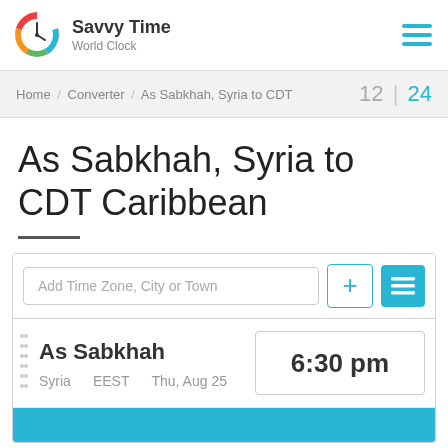[Figure (logo): Savvy Time World Clock circular logo with clock face and colored segments]
Savvy Time
World Clock
Home / Converter / As Sabkhah, Syria to CDT
12 | 24
As Sabkhah, Syria to CDT Caribbean
Add Time Zone, City or Town
As Sabkhah
Syria
6:30 pm
EEST
Thu, Aug 25